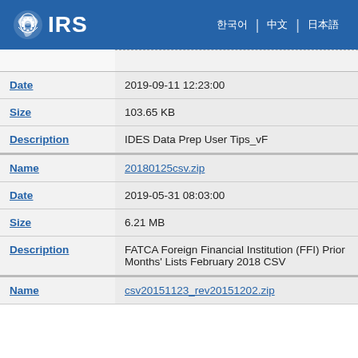IRS
| Field | Value |
| --- | --- |
| Date | 2019-09-11 12:23:00 |
| Size | 103.65 KB |
| Description | IDES Data Prep User Tips_vF |
| Name | 20180125csv.zip |
| Date | 2019-05-31 08:03:00 |
| Size | 6.21 MB |
| Description | FATCA Foreign Financial Institution (FFI) Prior Months' Lists February 2018 CSV |
| Name | csv20151123_rev20151202.zip |